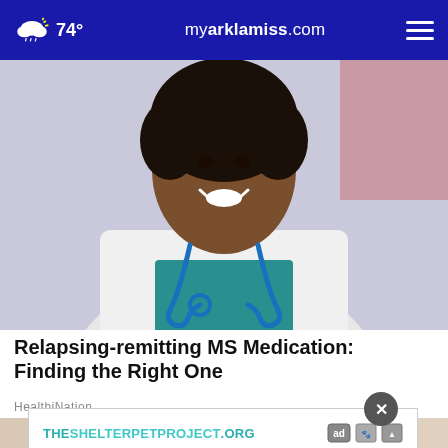74° myarklamiss.com
[Figure (photo): A smiling Black female doctor or healthcare professional wearing a white lab coat and teal scrubs with a blue stethoscope around her neck, photographed from the chest up with a blurred clinical background.]
Relapsing-remitting MS Medication: Finding the Right One
HealthiNation
[Figure (photo): Partial view of another image below the article title, partially covered by an advertisement banner.]
THESHELTERPETPROJECT.ORG